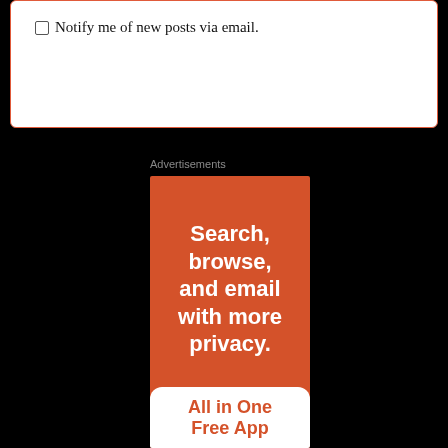Notify me of new posts via email.
Advertisements
[Figure (illustration): Advertisement banner with orange background. Large white bold text reads 'Search, browse, and email with more privacy.' Below is a white rounded box with orange bold text reading 'All in One Free App']